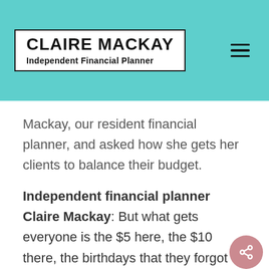CLAIRE MACKAY Independent Financial Planner
Mackay, our resident financial planner, and asked how she gets her clients to balance their budget.
Independent financial planner Claire Mackay: But what gets everyone is the $5 here, the $10 there, the birthdays that they forgot about. And funnily enough birthdays come round every year.